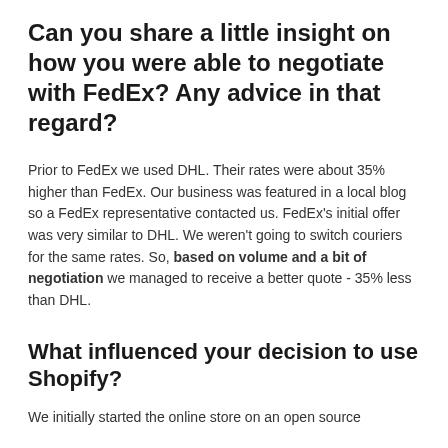Can you share a little insight on how you were able to negotiate with FedEx? Any advice in that regard?
Prior to FedEx we used DHL. Their rates were about 35% higher than FedEx. Our business was featured in a local blog so a FedEx representative contacted us. FedEx's initial offer was very similar to DHL. We weren't going to switch couriers for the same rates. So, based on volume and a bit of negotiation we managed to receive a better quote - 35% less than DHL.
What influenced your decision to use Shopify?
We initially started the online store on an open source